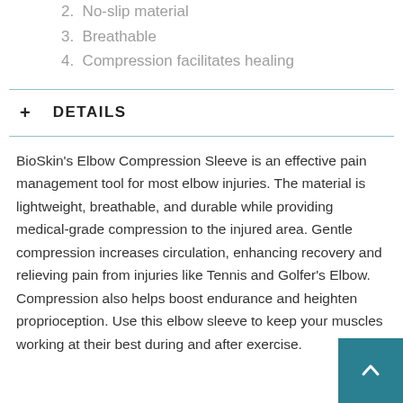2. No-slip material
3. Breathable
4. Compression facilitates healing
+ DETAILS
BioSkin's Elbow Compression Sleeve is an effective pain management tool for most elbow injuries. The material is lightweight, breathable, and durable while providing medical-grade compression to the injured area. Gentle compression increases circulation, enhancing recovery and relieving pain from injuries like Tennis and Golfer's Elbow. Compression also helps boost endurance and heighten proprioception. Use this elbow sleeve to keep your muscles working at their best during and after exercise.